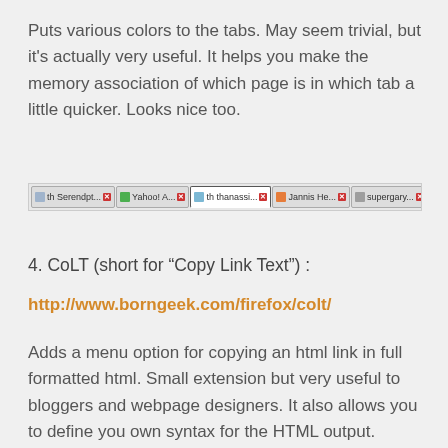Puts various colors to the tabs. May seem trivial, but it's actually very useful. It helps you make the memory association of which page is in which tab a little quicker. Looks nice too.
[Figure (screenshot): Screenshot of a Firefox browser tab bar showing multiple colored tabs: Serendpt..., Yahoo! A..., thanassi... (active/selected), Jannis He..., supergary..., Serendpt... with close buttons on each tab]
4. CoLT (short for “Copy Link Text”) :
http://www.borngeek.com/firefox/colt/
Adds a menu option for copying an html link in full formatted html. Small extension but very useful to bloggers and webpage designers. It also allows you to define you own syntax for the HTML output.